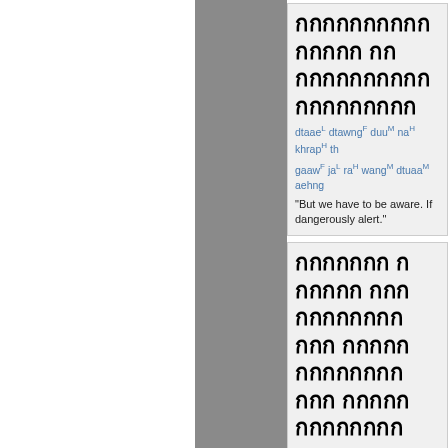Thai text block 1 with romanization: dtaae dtawng duu na khrap th gaaw ja ra wang dtuaa aehng. English: "But we have to be aware. If dangerously alert."
Thai text block 2 with romanization: phuut ngaai ngaai gaaw kheuu tham thai meuuan gan phraw gam lang biaao dtaae khit wa thaaen ngern baang. English: "Simply stated, defaulting on because debtors never consi but, rather, they think that the monetary means."
Thai text block 3 with speaker icon.